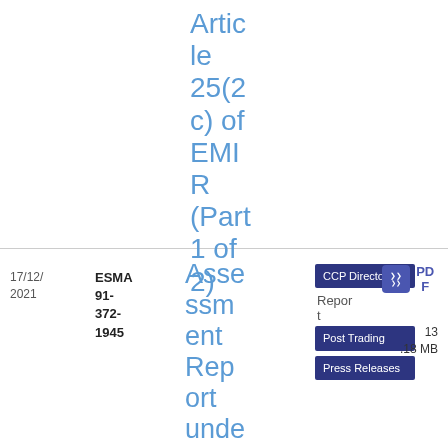Article 25(2c) of EMIR (Part 1 of 2)
17/12/2021
ESMA 91-372-1945
Assessment Report under Article 25(2c) of EMI
CCP Directorate
Post Trading
Press Releases
Report
PDF
13.18 MB